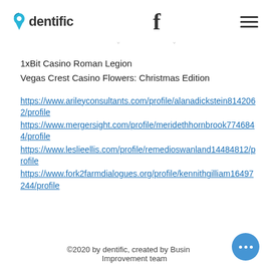dentific | f | ☰
1xBit Casino Roman Legion
Vegas Crest Casino Flowers: Christmas Edition
https://www.arileyconsultants.com/profile/alanadickstein8142062/profile
https://www.mergersight.com/profile/meridethhornbrook7746844/profile
https://www.leslieellis.com/profile/remedioswanland14484812/profile
https://www.fork2farmdialogues.org/profile/kennithgilliam16497244/profile
©2020 by dentific, created by Business Improvement team